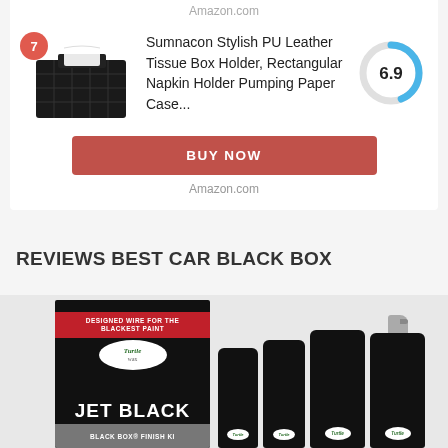Amazon.com
Sumnacon Stylish PU Leather Tissue Box Holder, Rectangular Napkin Holder Pumping Paper Case...
[Figure (donut-chart): Score]
BUY NOW
Amazon.com
REVIEWS BEST CAR BLACK BOX
[Figure (photo): Turtle Wax Jet Black Black Box Finish Kit product packaging with multiple black bottles]